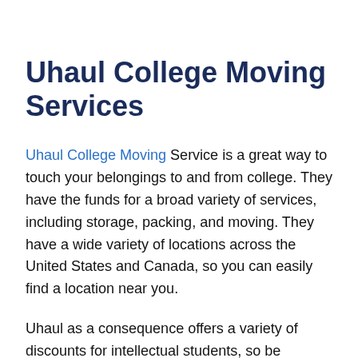Uhaul College Moving Services
Uhaul College Moving Service is a great way to touch your belongings to and from college. They have the funds for a broad variety of services, including storage, packing, and moving. They have a wide variety of locations across the United States and Canada, so you can easily find a location near you.
Uhaul as a consequence offers a variety of discounts for intellectual students, so be determined to check out their website before you